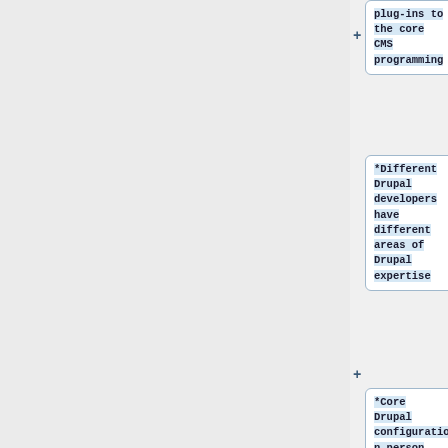plug-ins to the core CMS programming
*Different Drupal developers have different areas of Drupal expertise
*Core Drupal configuration person
*Costume module development person
*Design/them